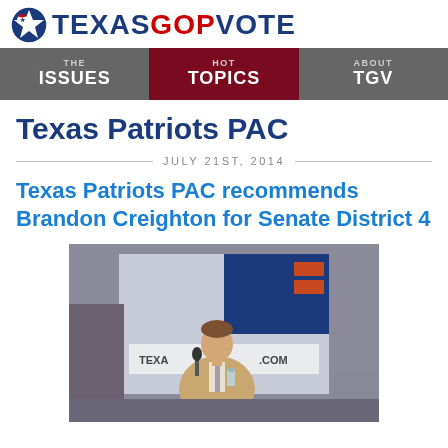Texas GOP Vote — Navigation: The Issues | Hot Topics | About TGV
Texas Patriots PAC
JULY 21ST, 2014
Texas Patriots PAC recommends Brandon Creighton for Senate District 4
[Figure (photo): Man in a tan blazer speaking into a microphone at a Texas Patriots PAC event, with a banner visible in the background showing 'TEXAS PATRIOTS' and the texasgopvote.com website URL.]